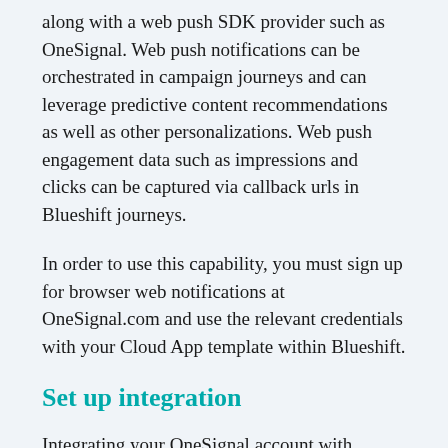along with a web push SDK provider such as OneSignal. Web push notifications can be orchestrated in campaign journeys and can leverage predictive content recommendations as well as other personalizations. Web push engagement data such as impressions and clicks can be captured via callback urls in Blueshift journeys.
In order to use this capability, you must sign up for browser web notifications at OneSignal.com and use the relevant credentials with your Cloud App template within Blueshift.
Set up integration
Integrating your OneSignal account with